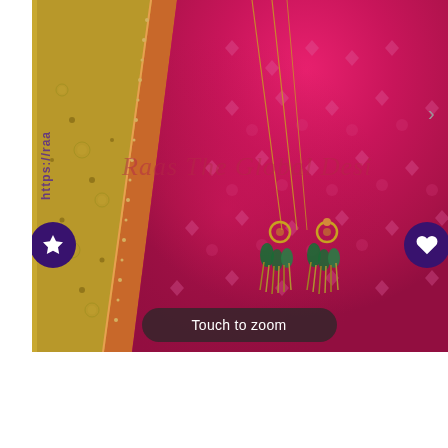[Figure (photo): Product photo of a magenta/pink bandhani lehenga (Indian skirt) with gold/olive embroidered dupatta (scarf) draped alongside. The lehenga features golden tassels hanging from the waistband. Watermark text reads 'Raas The Global Desi' in cursive and 'https://raa' vertically in purple. A 'Touch to zoom' button overlay appears at the bottom. Star and heart circular icon buttons appear on left and right sides of the image.]
Touch to zoom